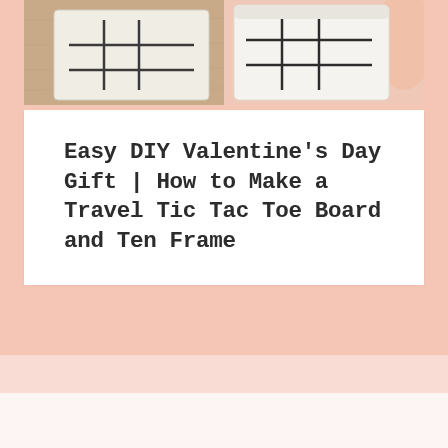[Figure (photo): Photo of a fabric tic-tac-toe travel board bag on a kraft paper background, with a hand holding the bag showing the stitched grid lines on white fabric. The left side shows the bag laid flat on brown paper.]
Easy DIY Valentine's Day Gift | How to Make a Travel Tic Tac Toe Board and Ten Frame